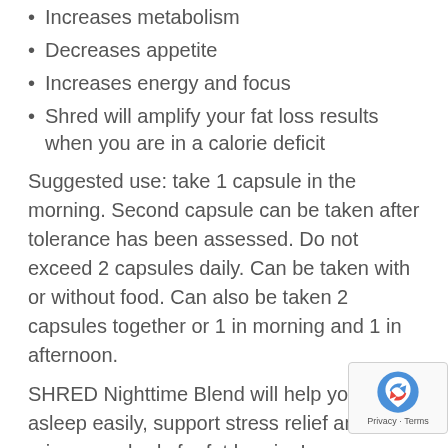Increases metabolism
Decreases appetite
Increases energy and focus
Shred will amplify your fat loss results when you are in a calorie deficit
Suggested use: take 1 capsule in the morning. Second capsule can be taken after tolerance has been assessed. Do not exceed 2 capsules daily. Can be taken with or without food. Can also be taken 2 capsules together or 1 in morning and 1 in afternoon.
SHRED Nighttime Blend will help you fall asleep easily, support stress relief and prime your body for fat burning!
Melatonin: helps you fall asleep